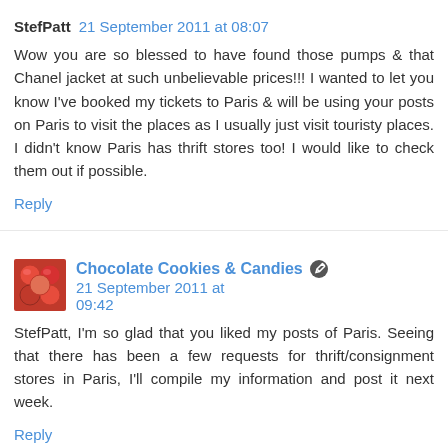StefPatt  21 September 2011 at 08:07
Wow you are so blessed to have found those pumps & that Chanel jacket at such unbelievable prices!!! I wanted to let you know I've booked my tickets to Paris & will be using your posts on Paris to visit the places as I usually just visit touristy places. I didn't know Paris has thrift stores too! I would like to check them out if possible.
Reply
Chocolate Cookies & Candies  21 September 2011 at 09:42
StefPatt, I'm so glad that you liked my posts of Paris. Seeing that there has been a few requests for thrift/consignment stores in Paris, I'll compile my information and post it next week.
Reply